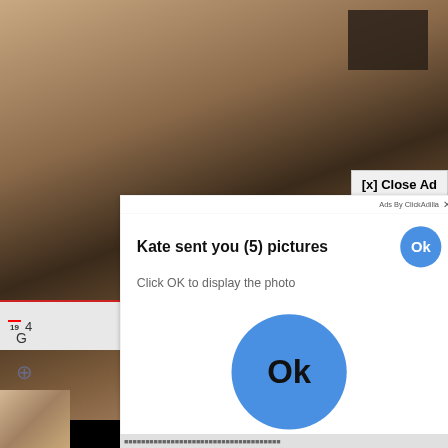[Figure (screenshot): Background showing a blurry video/image behind an ad popup overlay. The popup is a white dialog box with 'Ads By ClickAdilla' header and an '[x] Close Ad' button. The dialog reads 'Kate sent you (5) pictures' with a small blue Ok button, 'Click OK to display the photo' subtitle, and a large blue Ok button below. Bottom shows '2sd' in gray. Surrounding elements show partial browser UI with '5:20' time, 'G' text, hash icon, and partial thumbnail.]